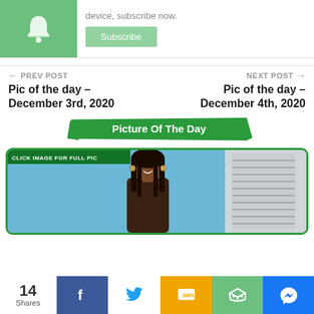[Figure (screenshot): Green notification bell icon in a green box with subscribe button and text 'device, subscribe now.']
device, subscribe now.
Subscribe
← PREV POST
NEXT POST →
Pic of the day – December 3rd, 2020
Pic of the day – December 4th, 2020
Picture Of The Day
[Figure (photo): Photo of a smiling Black woman with long braids, wearing hoop earrings, in front of a blue wall with a window and blinds visible. A green banner reads 'CLICK IMAGE FOR FULL PIC'.]
14 Shares